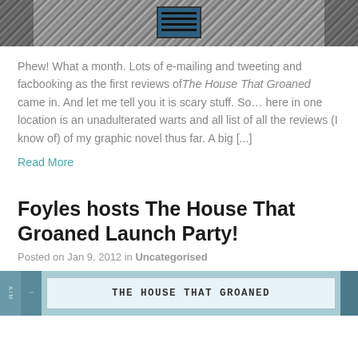[Figure (photo): Photo of a person holding a book titled The House That Groaned against a textured dark background]
Phew! What a month. Lots of e-mailing and tweeting and facbooking as the first reviews ofThe House That Groaned came in. And let me tell you it is scary stuff. So… here in one location is an unadulterated warts and all list of all the reviews (I know of) of my graphic novel thus far. A big [...]
Read More
Foyles hosts The House That Groaned Launch Party!
Posted on Jan 9, 2012 in Uncategorised
[Figure (photo): Photo showing a sign or book cover reading THE HOUSE THAT GROANED at the bottom of the page]